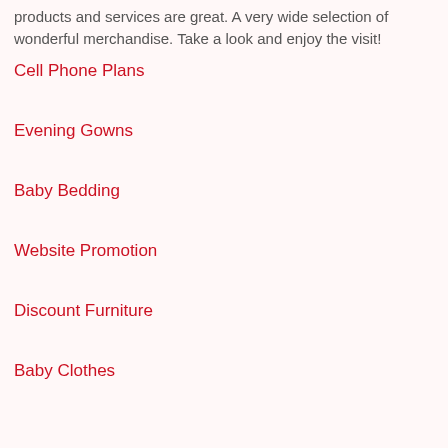products and services are great. A very wide selection of wonderful merchandise. Take a look and enjoy the visit!
Cell Phone Plans
Evening Gowns
Baby Bedding
Website Promotion
Discount Furniture
Baby Clothes